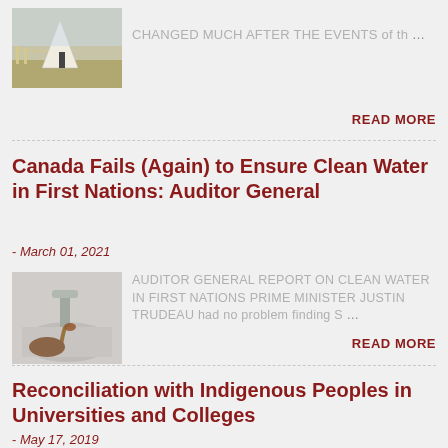[Figure (photo): A teepee on a grassy field]
CHANGED MUCH AFTER THE EVENTS of th ...
READ MORE
Canada Fails (Again) to Ensure Clean Water in First Nations: Auditor General
- March 01, 2021
[Figure (photo): A sink faucet running dirty brown water]
AUDITOR GENERAL REPORT ON CLEAN WATER IN FIRST NATIONS PRIME MINISTER JUSTIN TRUDEAU had no problem finding S ...
READ MORE
Reconciliation with Indigenous Peoples in Universities and Colleges
- May 17, 2019